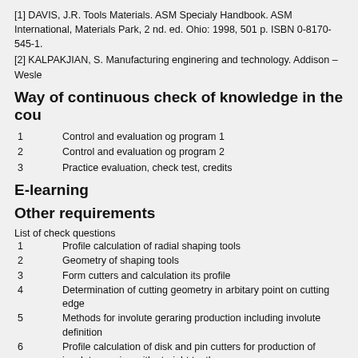[1] DAVIS, J.R. Tools Materials. ASM Specialy Handbook. ASM International, Materials Park, 2 nd. ed. Ohio: 1998, 501 p. ISBN 0-8170-545-1.
[2] KALPAKJIAN, S. Manufacturing enginering and technology. Addison – Wesle
Way of continuous check of knowledge in the cou
1    Control and evaluation og program 1
2    Control and evaluation og program 2
3    Practice evaluation, check test, credits
E-learning
Other requirements
List of check questions
1    Profile calculation of radial shaping tools
2    Geometry of shaping tools
3    Form cutters and calculation its profile
4    Determination of cutting geometry in arbitary point on cutting edge
5    Methods for involute geraring production including involute definition
6    Profile calculation of disk and pin cutters for production of involute gearing with straight teeth
7    Cutting geometry of disk and pin cutters
8    Influence of positive face angel on form disk cutters
9    Disk cutters for external gearing with slanth teeth
10   Analysis of shaper tools for involute gearing production